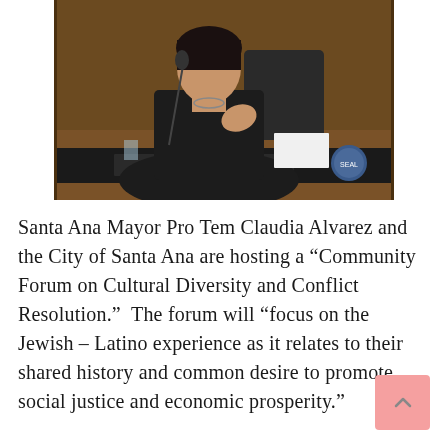[Figure (photo): Photo of Santa Ana Mayor Pro Tem Claudia C. Alvarez seated at a council dais speaking into a microphone, with a nameplate reading 'CLAUDIA C. ALVAREZ' visible in front of her.]
Santa Ana Mayor Pro Tem Claudia Alvarez and the City of Santa Ana are hosting a “Community Forum on Cultural Diversity and Conflict Resolution.”  The forum will “focus on the Jewish – Latino experience as it relates to their shared history and common desire to promote social justice and economic prosperity.”